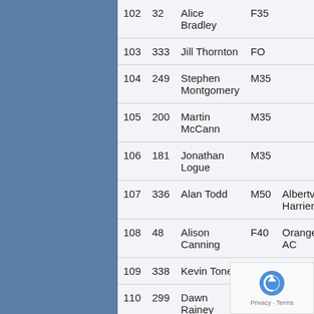| Place | No. | Name | Cat | Club |
| --- | --- | --- | --- | --- |
| 102 | 32 | Alice Bradley | F35 |  |
| 103 | 333 | Jill Thornton | FO |  |
| 104 | 249 | Stephen Montgomery | M35 |  |
| 105 | 200 | Martin McCann | M35 |  |
| 106 | 181 | Jonathan Logue | M35 |  |
| 107 | 336 | Alan Todd | M50 | Albertville Harriers |
| 108 | 48 | Alison Canning | F40 | Orangegrove AC |
| 109 | 338 | Kevin Toner | M50 |  |
| 110 | 299 | Dawn Rainey | F45 |  |